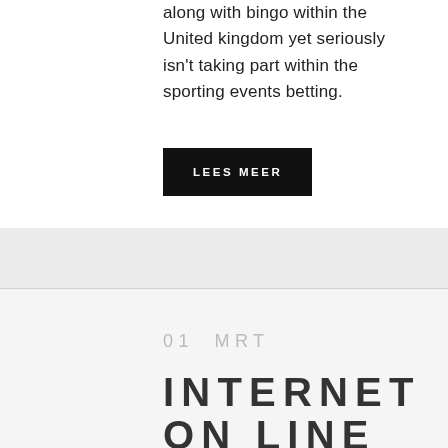along with bingo within the United kingdom yet seriously isn't taking part within the sporting events betting.
LEES MEER
01 MRT
INTERNET ON LINE CASINO